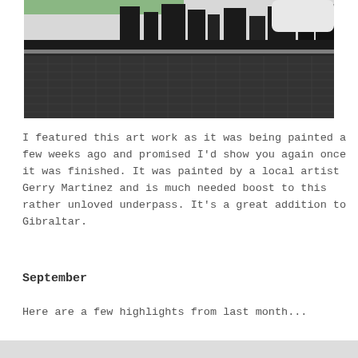[Figure (photo): A wide panoramic photo of an underpass mural painted on a wall. The mural shows a cityscape silhouette with buildings and trees. The ground is paved with cobblestones/brickwork. The scene is dark and moody.]
I featured this art work as it was being painted a few weeks ago and promised I'd show you again once it was finished. It was painted by a local artist Gerry Martinez and is much needed boost to this rather unloved underpass. It's a great addition to Gibraltar.
September
Here are a few highlights from last month...